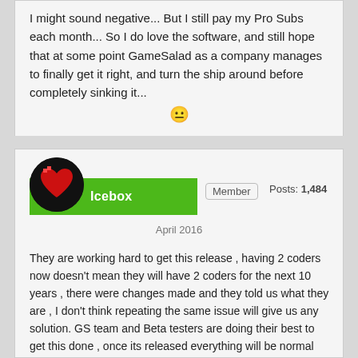I might sound negative... But I still pay my Pro Subs each month... So I do love the software, and still hope that at some point GameSalad as a company manages to finally get it right, and turn the ship around before completely sinking it... 😐
Icebox   Member   Posts: 1,484
April 2016
They are working hard to get this release , having 2 coders now doesn't mean they will have 2 coders for the next 10 years , there were changes made and they told us what they are , I don't think repeating the same issue will give us any solution. GS team and Beta testers are doing their best to get this done , once its released everything will be normal again, if you read through out this thread they never claimed that GS is sinking, but its us that are coming up with these assumptions. I am frustrated from waiting but i know that GS